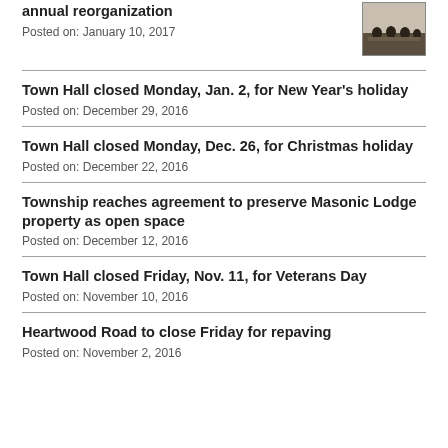annual reorganization
Posted on: January 10, 2017
Town Hall closed Monday, Jan. 2, for New Year's holiday
Posted on: December 29, 2016
Town Hall closed Monday, Dec. 26, for Christmas holiday
Posted on: December 22, 2016
Township reaches agreement to preserve Masonic Lodge property as open space
Posted on: December 12, 2016
Town Hall closed Friday, Nov. 11, for Veterans Day
Posted on: November 10, 2016
Heartwood Road to close Friday for repaving
Posted on: November 2, 2016